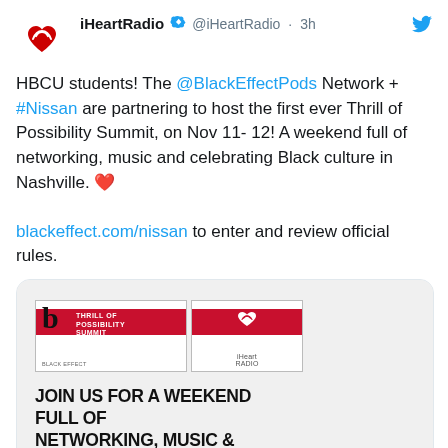iHeartRadio @iHeartRadio · 3h
HBCU students! The @BlackEffectPods Network + #Nissan are partnering to host the first ever Thrill of Possibility Summit, on Nov 11-12! A weekend full of networking, music and celebrating Black culture in Nashville. ❤
blackeffect.com/nissan to enter and review official rules.
[Figure (photo): Event promotional image for the Thrill of Possibility Summit showing Black Effect and iHeartRadio logos with text: JOIN US FOR A WEEKEND FULL OF NETWORKING, MUSIC & CELEBRATING BLACK CULTURE IN NASHVILLE, TN! Presented by Nissan.]
15